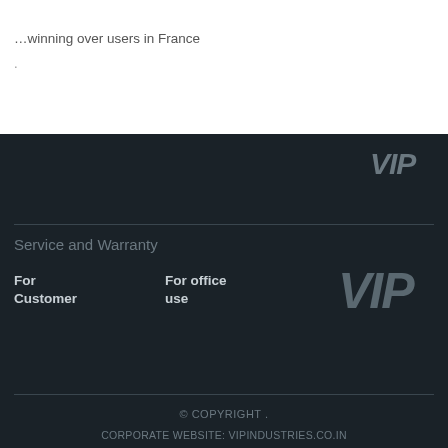winning over users in France
.
[Figure (logo): VIP logo in gray, top right of dark footer section]
Service and Warranty
For Customer
For office use
[Figure (logo): Large VIP logo in gray]
© COPYRIGHT . CORPORATE WEBSITE: VIPINDUSTRIES.CO.IN SHOP NOW: SHOP.VIPBAGS.COM TOLL FREE HELP LINE NO: 1800 102 2256